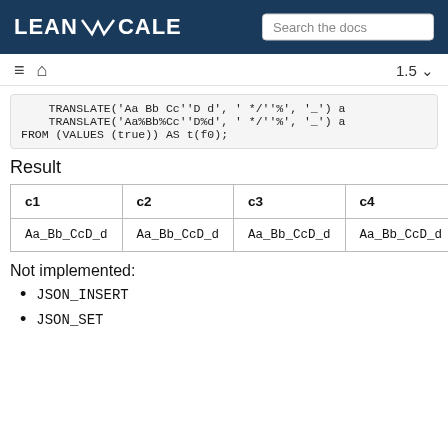LEANXCALE  Search the docs
1.5
TRANSLATE('Aa Bb Cc''D d', ' */''%', '_') a
    TRANSLATE('Aa%Bb%Cc''D%d', ' */''%', '_') a
FROM (VALUES (true)) AS t(f0);
Result
| c1 | c2 | c3 | c4 |
| --- | --- | --- | --- |
| Aa_Bb_CcD_d | Aa_Bb_CcD_d | Aa_Bb_CcD_d | Aa_Bb_CcD_d |
Not implemented:
JSON_INSERT
JSON_SET